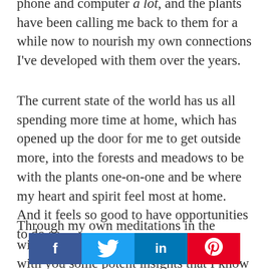phone and computer a lot, and the plants have been calling me back to them for a while now to nourish my own connections I've developed with them over the years.
The current state of the world has us all spending more time at home, which has opened up the door for me to get outside more, into the forests and meadows to be with the plants one-on-one and be where my heart and spirit feel most at home. And it feels so good to have opportunities to do so.
Through my own meditations in the wilderness lately, I've wanted to share with you some potent insights that I know can
[Figure (infographic): Social sharing bar with four buttons: Facebook (blue, f icon), Twitter (light blue, bird icon), LinkedIn (dark blue, in text), Pinterest (red, P icon)]